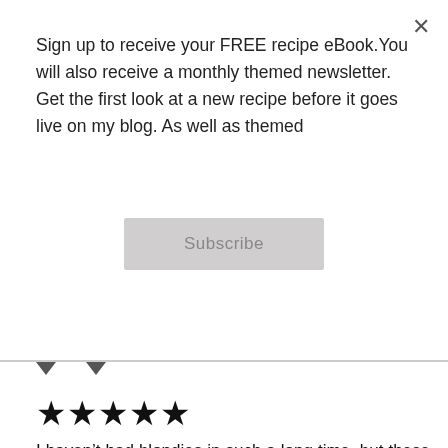Sign up to receive your FREE recipe eBook.You will also receive a monthly themed newsletter. Get the first look at a new recipe before it goes live on my blog. As well as themed
Subscribe
[Figure (other): Star rating: 5 out of 5 stars (5 filled black stars)]
I haven’t had blondies in such a long time, but these look absolutely amazing! I’ll definitley have to try them out! Thanks for sharing!
REPLY
[Figure (other): Advertisement banner: King Bed For A Queen Price Now - Mattress Firm Potomac Run Plaza]